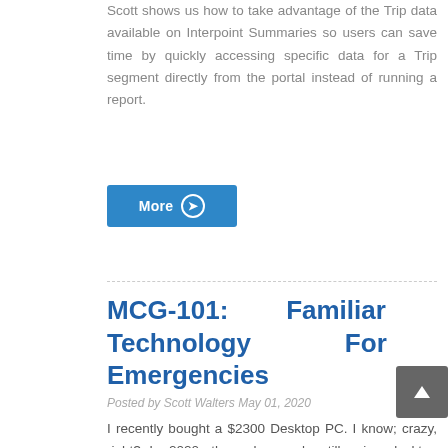Scott shows us how to take advantage of the Trip data available on Interpoint Summaries so users can save time by quickly accessing specific data for a Trip segment directly from the portal instead of running a report.
More ❯
MCG-101: Familiar Technology For Emergencies
Posted by Scott Walters May 01, 2020
I recently bought a $2300 Desktop PC. I know; crazy, right? In 2020, the only people still using desktop computers are young